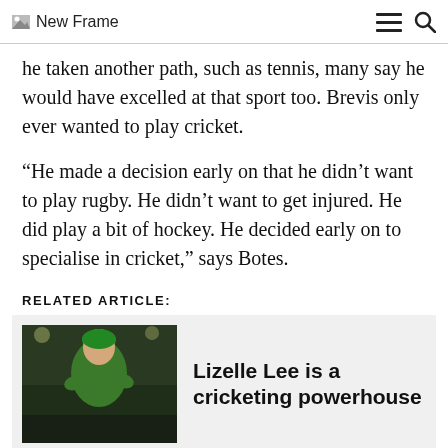New Frame
he taken another path, such as tennis, many say he would have excelled at that sport too. Brevis only ever wanted to play cricket.
“He made a decision early on that he didn’t want to play rugby. He didn’t want to get injured. He did play a bit of hockey. He decided early on to specialise in cricket,” says Botes.
RELATED ARTICLE:
[Figure (photo): Photo of Lizelle Lee in green cricket uniform]
Lizelle Lee is a cricketing powerhouse